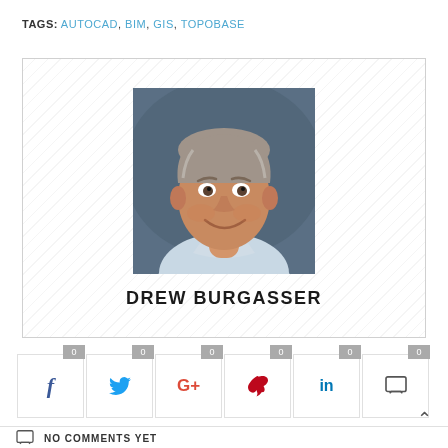TAGS: AUTOCAD, BIM, GIS, TOPOBASE
[Figure (photo): Professional headshot of Drew Burgasser, a middle-aged man with grey hair wearing a light blue shirt, against a dark background]
DREW BURGASSER
[Figure (infographic): Social share buttons showing 0 counts for Facebook, Twitter, Google+, Pinterest, LinkedIn, and Comments]
NO COMMENTS YET